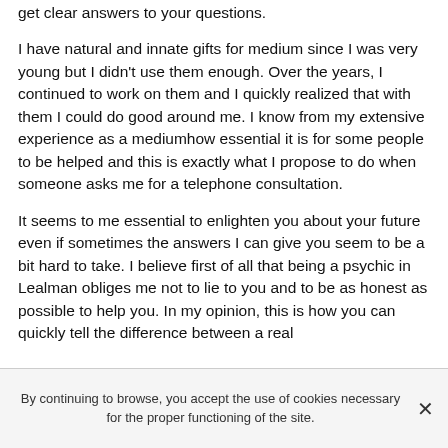get clear answers to your questions.
I have natural and innate gifts for medium since I was very young but I didn't use them enough. Over the years, I continued to work on them and I quickly realized that with them I could do good around me. I know from my extensive experience as a mediumhow essential it is for some people to be helped and this is exactly what I propose to do when someone asks me for a telephone consultation.
It seems to me essential to enlighten you about your future even if sometimes the answers I can give you seem to be a bit hard to take. I believe first of all that being a psychic in Lealman obliges me not to lie to you and to be as honest as possible to help you. In my opinion, this is how you can quickly tell the difference between a real
By continuing to browse, you accept the use of cookies necessary for the proper functioning of the site.